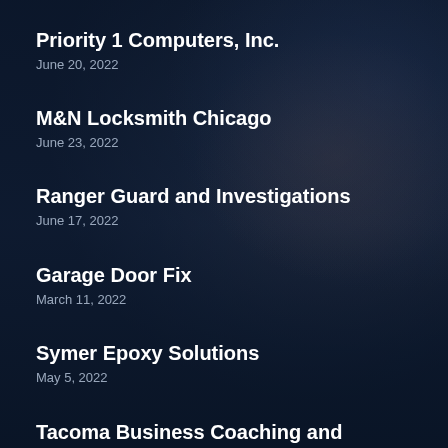Priority 1 Computers, Inc.
June 20, 2022
M&N Locksmith Chicago
June 23, 2022
Ranger Guard and Investigations
June 17, 2022
Garage Door Fix
March 11, 2022
Symer Epoxy Solutions
May 5, 2022
Tacoma Business Coaching and Consulting